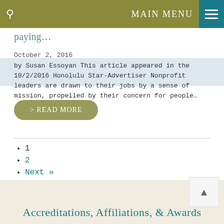MAIN MENU
paying…
October 2, 2016
by Susan Essoyan This article appeared in the 10/2/2016 Honolulu Star-Advertiser Nonprofit leaders are drawn to their jobs by a sense of mission, propelled by their concern for people…
> READ MORE
1
2
Next »
Accreditations, Affiliations, & Awards